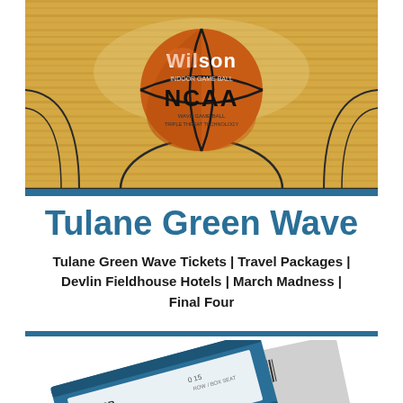[Figure (photo): Wilson NCAA indoor game ball basketball resting on a hardwood basketball court floor, viewed from above. The court shows the center court area with wood grain flooring.]
Tulane Green Wave
Tulane Green Wave Tickets | Travel Packages | Devlin Fieldhouse Hotels | March Madness | Final Four
[Figure (photo): Two event tickets partially visible at the bottom of the page, one blue-bordered ticket and one grey ticket with barcode, overlapping each other at an angle.]